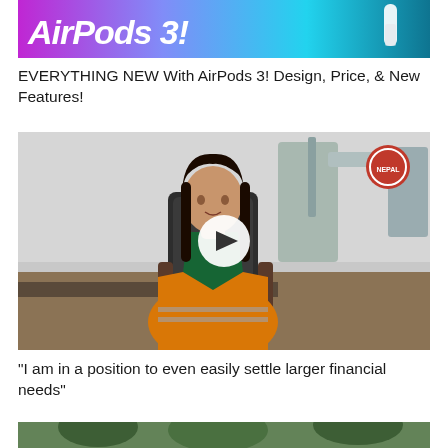[Figure (screenshot): AirPods 3 promotional thumbnail with purple-to-cyan gradient background and white AirPod image on right side, text 'AirPods 3!' in white bold italic]
EVERYTHING NEW With AirPods 3! Design, Price, & New Features!
[Figure (screenshot): Video thumbnail showing a woman in an orange and green work jacket seated in a chair in what appears to be a laboratory or medical setting, with a white circular play button overlay in the center]
"I am in a position to even easily settle larger financial needs"
[Figure (photo): Partial thumbnail of another image, partially visible at bottom of page]